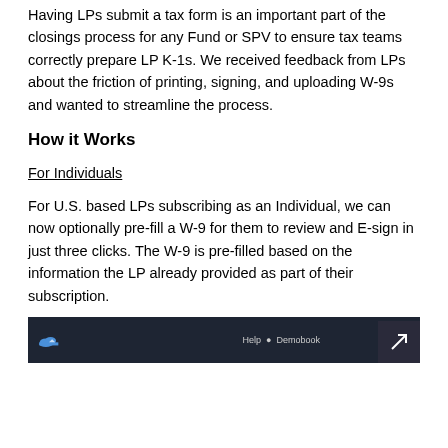Having LPs submit a tax form is an important part of the closings process for any Fund or SPV to ensure tax teams correctly prepare LP K-1s. We received feedback from LPs about the friction of printing, signing, and uploading W-9s and wanted to streamline the process.
How it Works
For Individuals
For U.S. based LPs subscribing as an Individual, we can now optionally pre-fill a W-9 for them to review and E-sign in just three clicks. The W-9 is pre-filled based on the information the LP already provided as part of their subscription.
[Figure (screenshot): Screenshot of a dark-themed application interface showing a navigation bar with a cloud logo icon on the left and menu items on the right including 'Help' and 'Demobook', with an arrow icon in the bottom right corner.]